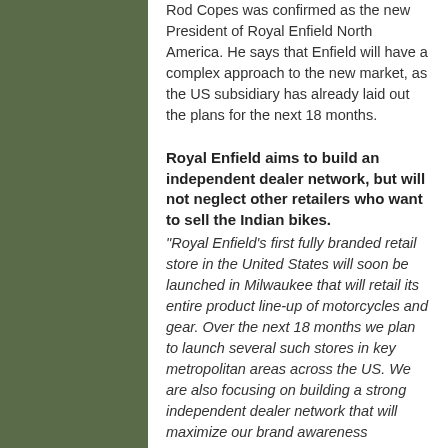Rod Copes was confirmed as the new President of Royal Enfield North America. He says that Enfield will have a complex approach to the new market, as the US subsidiary has already laid out the plans for the next 18 months.
Royal Enfield aims to build an independent dealer network, but will not neglect other retailers who want to sell the Indian bikes.
"Royal Enfield's first fully branded retail store in the United States will soon be launched in Milwaukee that will retail its entire product line-up of motorcycles and gear. Over the next 18 months we plan to launch several such stores in key metropolitan areas across the US. We are also focusing on building a strong independent dealer network that will maximize our brand awareness